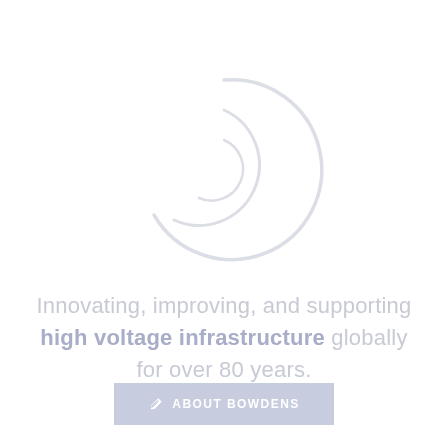[Figure (logo): Bowdens logo — two overlapping circular arc shapes forming an abstract swirl/wifi-like icon in light gray]
Innovating, improving, and supporting high voltage infrastructure globally for over 80 years.
ABOUT BOWDENS